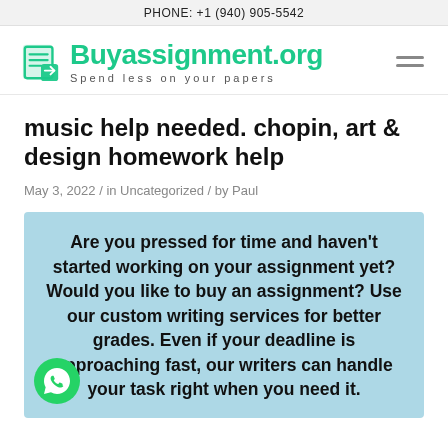PHONE: +1 (940) 905-5542
[Figure (logo): Buyassignment.org logo with pencil/document icon and tagline 'Spend less on your papers']
music help needed. chopin, art & design homework help
May 3, 2022 / in Uncategorized / by Paul
Are you pressed for time and haven't started working on your assignment yet? Would you like to buy an assignment? Use our custom writing services for better grades. Even if your deadline is approaching fast, our writers can handle your task right when you need it.